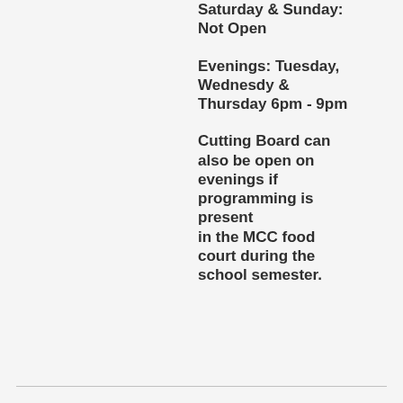Saturday & Sunday: Not Open
Evenings: Tuesday, Wednesdy & Thursday 6pm - 9pm
Cutting Board can also be open on evenings if programming is present in the MCC food court during the school semester.